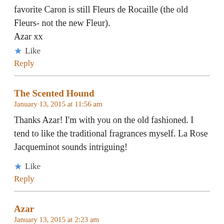favorite Caron is still Fleurs de Rocaille (the old Fleurs- not the new Fleur).
Azar xx
Like
Reply
The Scented Hound
January 13, 2015 at 11:56 am
Thanks Azar! I'm with you on the old fashioned. I tend to like the traditional fragrances myself. La Rose Jacqueminot sounds intriguing!
Like
Reply
Azar
January 13, 2015 at 2:23 am
Congratulations on your THIRD and on your ebay coup